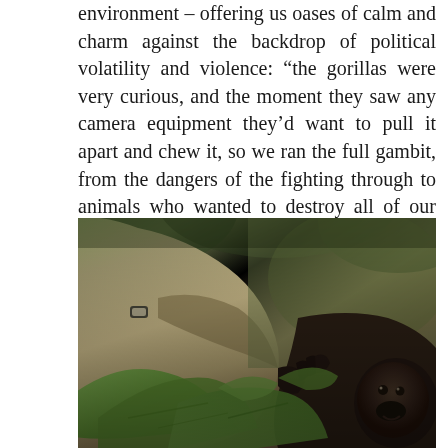environment – offering us oases of calm and charm against the backdrop of political volatility and violence: “the gorillas were very curious, and the moment they saw any camera equipment they’d want to pull it apart and chew it, so we ran the full gambit, from the dangers of the fighting through to animals who wanted to destroy all of our equipment.”
[Figure (photo): A person wearing khaki/olive clothing holds or cradles a young gorilla amid jungle foliage. The gorilla’s dark face and hands are visible at the lower right, with large green leaves in the foreground.]